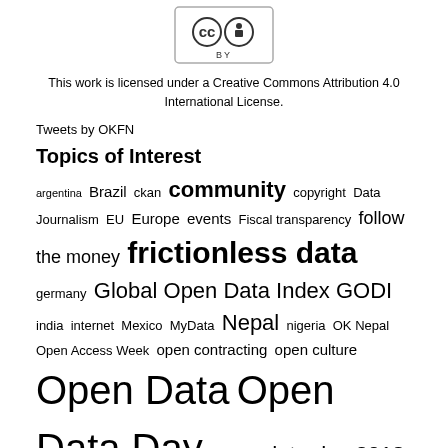[Figure (logo): Creative Commons CC BY license badge]
This work is licensed under a Creative Commons Attribution 4.0 International License.
Tweets by OKFN
Topics of Interest
argentina Brazil ckan community copyright Data Journalism EU Europe events Fiscal transparency follow the money frictionless data germany Global Open Data Index GODI india internet Mexico MyData Nepal nigeria OK Nepal Open Access Week open contracting open culture Open Data Open Data Day open data day 2018 open data day 2019 Open Data Day 2020 Open Data Day 2021 open data index Open Economics open government open government data Open Knowledge Open Knowledge Foundation open mapping open science open source